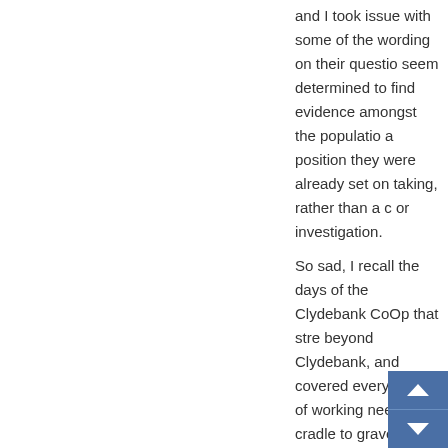and I took issue with some of the wording on their questio seem determined to find evidence amongst the populatio a position they were already set on taking, rather than a c or investigation.
So sad, I recall the days of the Clydebank CoOp that stre beyond Clydebank, and covered every aspect of working needs, cradle to grave as it were.
Still not been shopping yet.
2 April, 2014 at 11:20 am
[Figure (illustration): Grey avatar/silhouette person icon]
Catherine says:
I was aware that the Co-op had different prices in differen many years ago, where I live, there was only a Co-op, an Tesco's moved in, prices all of a sudden went down. Now particularly like Tesco's, but I have to say I have never rea the Co-op. I also know that island communities are being the same way. This along with your article is particularly i light of this page on their website: http://www.co-operative.coop/corporate/aboutus/The-Co-operative-Gro and-Principles/